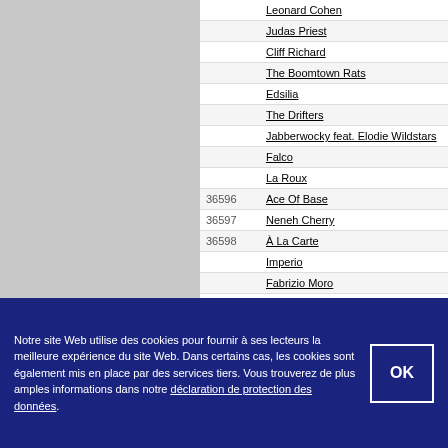| ID | Artist |
| --- | --- |
|  | Leonard Cohen |
|  | Judas Priest |
|  | Cliff Richard |
|  | The Boomtown Rats |
|  | Edsilia |
|  | The Drifters |
|  | Jabberwocky feat. Elodie Wildstars |
|  | Falco |
|  | La Roux |
| 36596 | Ace Of Base |
| 36597 | Neneh Cherry |
| 36598 | À La Carte |
|  | Imperio |
|  | Fabrizio Moro |
Pages: 1 | 2 | 3 | 4 | 5 | 6 | 7 | 8 | 9 | 10 | 11 | 12 | 1 ... 28 | 29 | 30 | 31 | 32 | 33 | 34 | 35 | 36 | 37 | 38 | 3... 54 | 55 | 56 | 57 | 58 | 59 | 60 | 61 | 62 | 63 | 64 | 6... 80 | 81 | 82 | 83 | 84 | 85 | 86 | 87 | 88 | 89 | 90 | 9... 105 | 106 | 107 | 108 | 109 | 110 | 111 | 112 | 113...
Notre site Web utilise des cookies pour fournir à ses lecteurs la meilleure expérience du site Web. Dans certains cas, les cookies sont également mis en place par des services tiers. Vous trouverez de plus amples informations dans notre déclaration de protection des données.